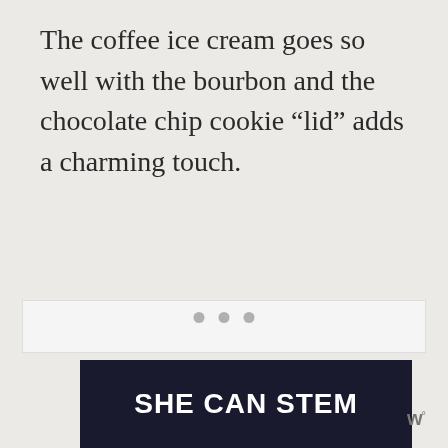The coffee ice cream goes so well with the bourbon and the chocolate chip cookie “lid” adds a charming touch.
[Figure (photo): A mostly white/blank image placeholder area with three grey dots centered near the bottom, indicating a loading or carousel indicator.]
[Figure (other): Advertisement banner with dark navy background showing 'SHE CAN STEM' in bold white text, and a small 'w degree' logo to the right.]